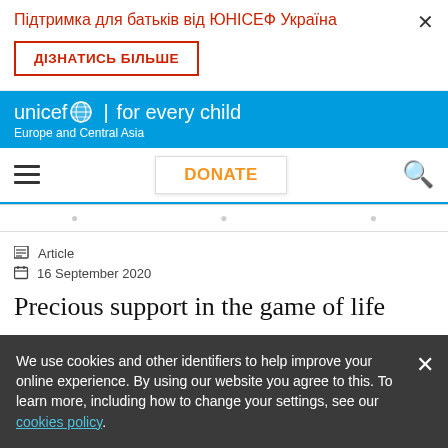Підтримка для батьків від ЮНІСЕФ Україна
ДІЗНАТИСЬ БІЛЬШЕ
[Figure (logo): UNICEF 'for every child' logo with globe icon and text 'Europe and Central Asia' on cyan/blue background]
DONATE
Article
16 September 2020
Precious support in the game of life
We use cookies and other identifiers to help improve your online experience. By using our website you agree to this. To learn more, including how to change your settings, see our cookies policy.